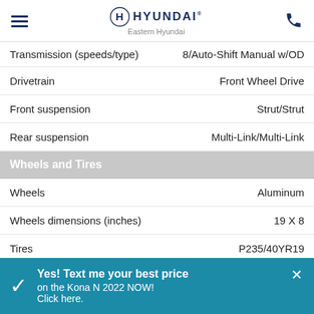Eastern Hyundai
| Specification | Value |
| --- | --- |
| Transmission (speeds/type) | 8/Auto-Shift Manual w/OD |
| Drivetrain | Front Wheel Drive |
| Front suspension | Strut/Strut |
| Rear suspension | Multi-Link/Multi-Link |
| Wheels and Tires |  |
| Wheels | Aluminum |
| Wheels dimensions (inches) | 19 X 8 |
| Tires | P235/40YR19 |
| Security |  |
| ABS | Std |
| Brake assist system | Std |
Yes! Text me your best price on the Kona N 2022 NOW! Click here.